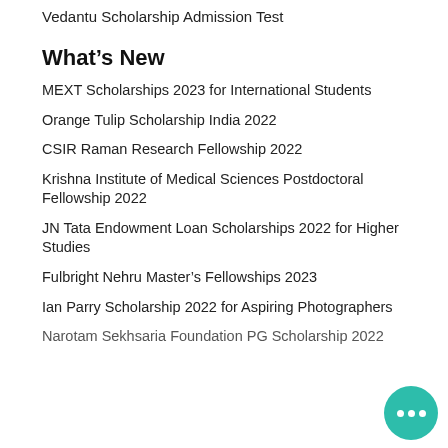Vedantu Scholarship Admission Test
What's New
MEXT Scholarships 2023 for International Students
Orange Tulip Scholarship India 2022
CSIR Raman Research Fellowship 2022
Krishna Institute of Medical Sciences Postdoctoral Fellowship 2022
JN Tata Endowment Loan Scholarships 2022 for Higher Studies
Fulbright Nehru Master's Fellowships 2023
Ian Parry Scholarship 2022 for Aspiring Photographers
Narotam Sekhsaria Foundation PG Scholarship 2022